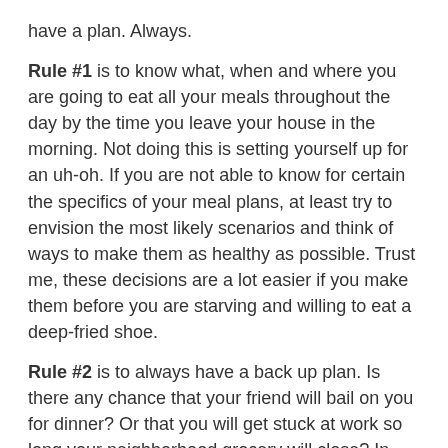have a plan. Always.
Rule #1 is to know what, when and where you are going to eat all your meals throughout the day by the time you leave your house in the morning. Not doing this is setting yourself up for an uh-oh. If you are not able to know for certain the specifics of your meal plans, at least try to envision the most likely scenarios and think of ways to make them as healthy as possible. Trust me, these decisions are a lot easier if you make them before you are starving and willing to eat a deep-fried shoe.
Rule #2 is to always have a back up plan. Is there any chance that your friend will bail on you for dinner? Or that you will get stuck at work so long your neighborhood grocery will close? In cases like this it is best to have a plan B. I keep stuff in my freezer and pantry that can be whipped up at any given moment. I also store food in my desk at work for emergencies.